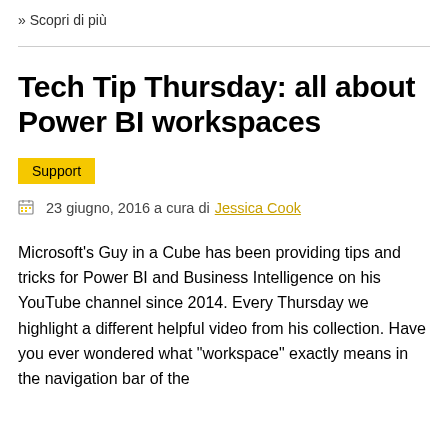» Scopri di più
Tech Tip Thursday: all about Power BI workspaces
Support
23 giugno, 2016 a cura di Jessica Cook
Microsoft's Guy in a Cube has been providing tips and tricks for Power BI and Business Intelligence on his YouTube channel since 2014. Every Thursday we highlight a different helpful video from his collection. Have you ever wondered what "workspace" exactly means in the navigation bar of the